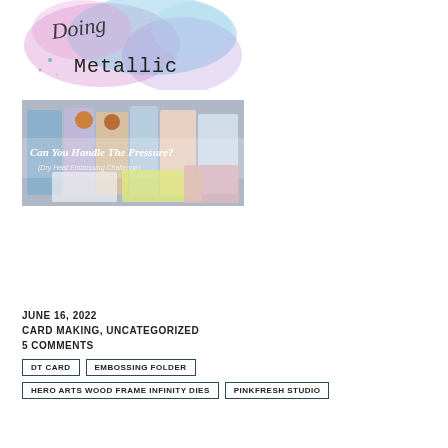[Figure (illustration): Watercolor splash with cursive script and 'Metallic' text in typewriter font]
[Figure (photo): Photo of craft supplies with text 'Can You Handle The Pressure? (Dry Heat Embossing Challenge)']
JUNE 16, 2022
CARD MAKING, UNCATEGORIZED
5 COMMENTS
DT CARD
EMBOSSING FOLDER
HERO ARTS WOOD FRAME INFINITY DIES
PINKFRESH STUDIO